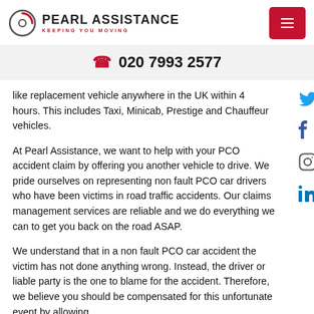Pearl Assistance — Keeping You Moving
020 7993 2577
like replacement vehicle anywhere in the UK within 4 hours. This includes Taxi, Minicab, Prestige and Chauffeur vehicles.
At Pearl Assistance, we want to help with your PCO accident claim by offering you another vehicle to drive. We pride ourselves on representing non fault PCO car drivers who have been victims in road traffic accidents. Our claims management services are reliable and we do everything we can to get you back on the road ASAP.
We understand that in a non fault PCO car accident the victim has not done anything wrong. Instead, the driver or liable party is the one to blame for the accident. Therefore, we believe you should be compensated for this unfortunate event by allowing